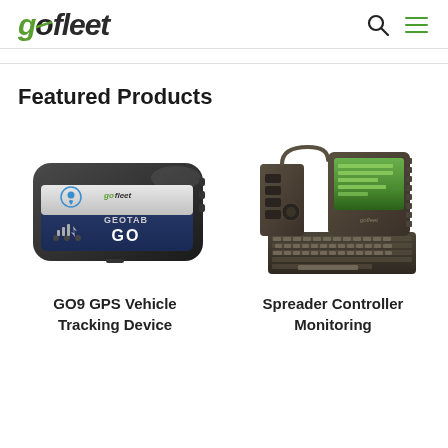gofleet
Featured Products
[Figure (photo): GO9 GPS Vehicle Tracking Device – a black Geotab GO9 GPS tracker with gofleet logo on blue face]
GO9 GPS Vehicle Tracking Device
[Figure (photo): Spreader Controller Monitoring device – a dark rugged handheld unit with green screen display and keyboard]
Spreader Controller Monitoring